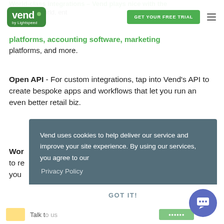Vend by Lightspeed — GET YOUR FREE TRIAL
platforms, and more.
Open API - For custom integrations, tap into Vend's API to create bespoke apps and workflows that let you run an even better retail biz.
Wor[ldclass integrations...] to re[ly on...] you[r...]
Vend uses cookies to help deliver our service and improve your site experience. By using our services, you agree to our Privacy Policy
GOT IT!
Talk [to us]